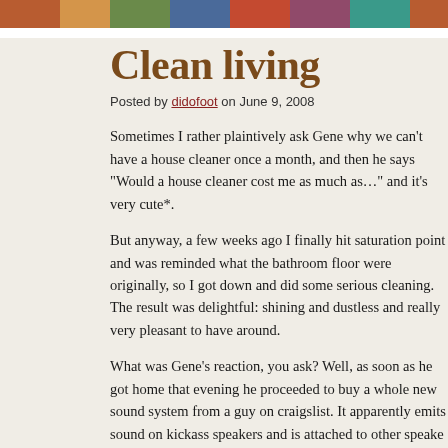[Figure (photo): Colorful photo strip at the top of the page showing various images]
Clean living
Posted by didofoot on June 9, 2008
Sometimes I rather plaintively ask Gene why we can't have a house cleaner once a month, and then he says "Would a house cleaner cost me as much as..." and it's very cute*.
But anyway, a few weeks ago I finally hit saturation point and was reminded what the bathroom floor were originally, so I got down and did some serious cleaning. The result was delightful: shining and dustless and really very pleasant to have around.
What was Gene's reaction, you ask? Well, as soon as he got home that evening he proceeded to buy a whole new sound system from a guy on craigslist. It apparently emits sound on kickass speakers and is attached to other speakers, and you can play the whole soundtrack to, for example, Footloose, and listen to it while you clean.
I don't know what lesson you're taking from this, but it seems clear that cleaning has exciting results. I think I've found a timeline I can live with.
*or adjective of your choice.